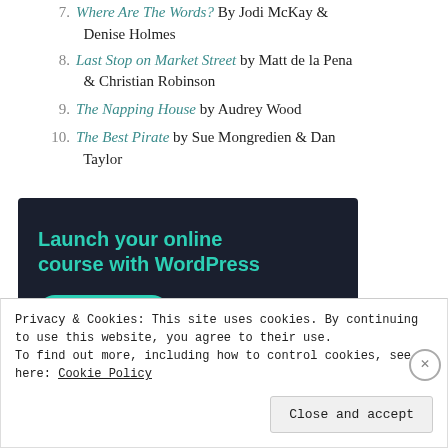7. Where Are The Words? By Jodi McKay & Denise Holmes
8. Last Stop on Market Street by Matt de la Pena & Christian Robinson
9. The Napping House by Audrey Wood
10. The Best Pirate by Sue Mongredien & Dan Taylor
[Figure (infographic): Dark navy advertisement banner for WordPress online course with teal text reading 'Launch your online course with WordPress' and a teal 'Learn More' button]
Privacy & Cookies: This site uses cookies. By continuing to use this website, you agree to their use.
To find out more, including how to control cookies, see here: Cookie Policy
Close and accept